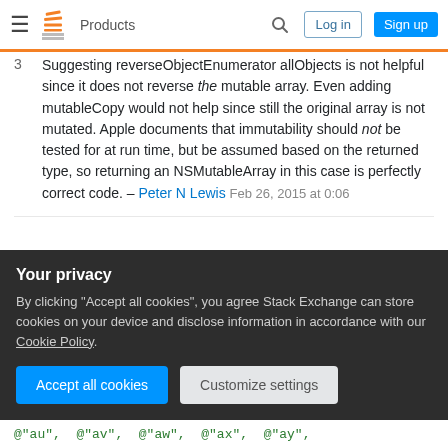≡ [Stack Overflow logo] Products 🔍 Log in Sign up
3 Suggesting reverseObjectEnumerator allObjects is not helpful since it does not reverse the mutable array. Even adding mutableCopy would not help since still the original array is not mutated. Apple documents that immutability should not be tested for at run time, but be assumed based on the returned type, so returning an NSMutableArray in this case is perfectly correct code. – Peter N Lewis Feb 26, 2015 at 0:06
Show 19 more comments
Some benchmarks
Your privacy
By clicking "Accept all cookies", you agree Stack Exchange can store cookies on your device and disclose information in accordance with our Cookie Policy.
Accept all cookies   Customize settings
@"au", @"av", @"aw", @"ax", @"ay",